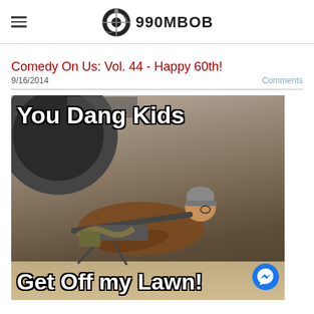990MBOB
Comedy On Us: Vol. 44 - Happy 60th!
9/16/2014
Comments
[Figure (photo): Meme image showing an elderly person in a brown jacket and grey beanie hat lying prone behind a large machine gun with ammunition belt, next to a truck tire. Text reads 'You Dang Kids' at top and 'Get Off my Lawn!' at bottom. Blue Facebook Messenger icon at bottom right.]